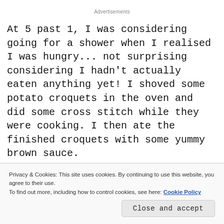Advertisements
At 5 past 1, I was considering going for a shower when I realised I was hungry... not surprising considering I hadn't actually eaten anything yet! I shoved some potato croquets in the oven and did some cross stitch while they were cooking. I then ate the finished croquets with some yummy brown sauce.
[Figure (photo): Two side-by-side photos partially visible: left is dark/black image, right is light grey image]
Privacy & Cookies: This site uses cookies. By continuing to use this website, you agree to their use.
To find out more, including how to control cookies, see here: Cookie Policy
Close and accept